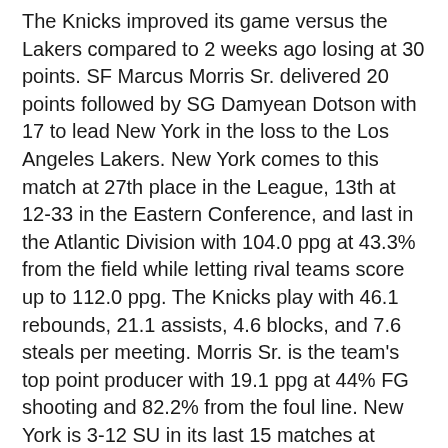The Knicks improved its game versus the Lakers compared to 2 weeks ago losing at 30 points. SF Marcus Morris Sr. delivered 20 points followed by SG Damyean Dotson with 17 to lead New York in the loss to the Los Angeles Lakers. New York comes to this match at 27th place in the League, 13th at 12-33 in the Eastern Conference, and last in the Atlantic Division with 104.0 ppg at 43.3% from the field while letting rival teams score up to 112.0 ppg. The Knicks play with 46.1 rebounds, 21.1 assists, 4.6 blocks, and 7.6 steals per meeting. Morris Sr. is the team's top point producer with 19.1 ppg at 44% FG shooting and 82.2% from the foul line. New York is 3-12 SU in its last 15 matches at home and 1-7 SU in its last 8 games at home against the Raptors.
Toronto Raptors vs New York Knicks. The NBA pick for this game is the Toronto Raptors -5.5. The Knicks look forward to play with consistency against the defending champions.Toronto is 30-14 against the Knicks with a 12-33 win/loss log on the season. The Raptors are 9-1 over the